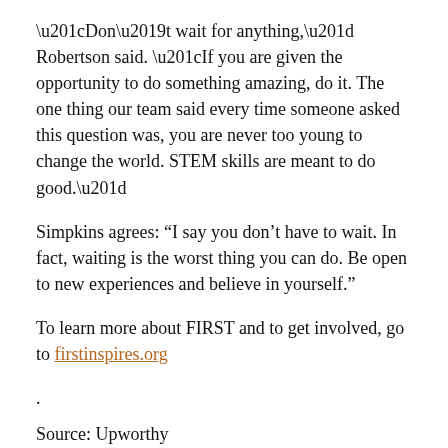“Don’t wait for anything,” Robertson said. “If you are given the opportunity to do something amazing, do it. The one thing our team said every time someone asked this question was, you are never too young to change the world. STEM skills are meant to do good.”
Simpkins agrees: “I say you don’t have to wait. In fact, waiting is the worst thing you can do. Be open to new experiences and believe in yourself.”
To learn more about FIRST and to get involved, go to firstinspires.org
.
Source: Upworthy
Link: Read More